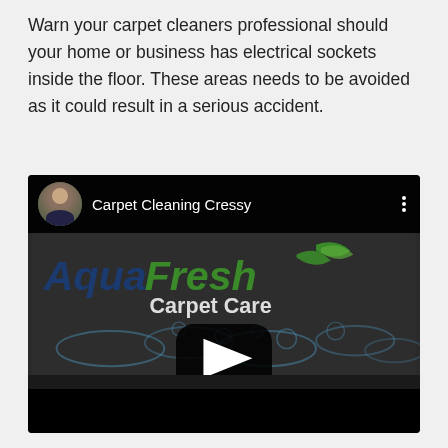Warn your carpet cleaners professional should your home or business has electrical sockets inside the floor. These areas needs to be avoided as it could result in a serious accident.
[Figure (screenshot): YouTube video thumbnail for 'Carpet Cleaning Cressy' by Aqua Fresh Carpet Care, showing the channel avatar, video title, a play button, and text '#ONE For Carpet and Upholstery Cleaning in Cressy'.]